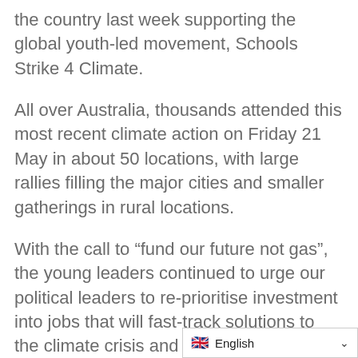the country last week supporting the global youth-led movement, Schools Strike 4 Climate.
All over Australia, thousands attended this most recent climate action on Friday 21 May in about 50 locations, with large rallies filling the major cities and smaller gatherings in rural locations.
With the call to “fund our future not gas”, the young leaders continued to urge our political leaders to re-prioritise investment into jobs that will fast-track solutions to the climate crisis and to accelerate the transition to 100 per cent renewable energy.
Ahead of the march in Sydney, Pitt Street Uniting Church was packed as Christians Students Uniting (CSU) led a powerful service reflecting on why care for cl…